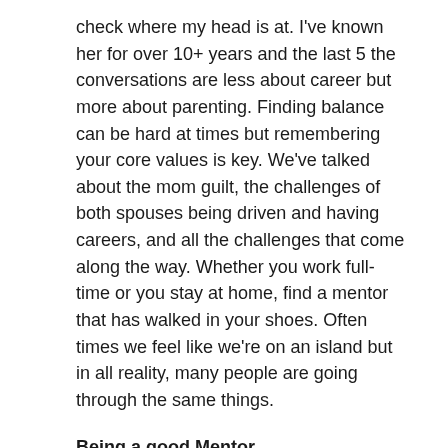check where my head is at. I've known her for over 10+ years and the last 5 the conversations are less about career but more about parenting. Finding balance can be hard at times but remembering your core values is key. We've talked about the mom guilt, the challenges of both spouses being driven and having careers, and all the challenges that come along the way. Whether you work full-time or you stay at home, find a mentor that has walked in your shoes. Often times we feel like we're on an island but in all reality, many people are going through the same things.
Being a good Mentor
I believe in making people better. I have been blessed with good mentors so I try to be the best mentor I can be. I found a few key items in mentoring: